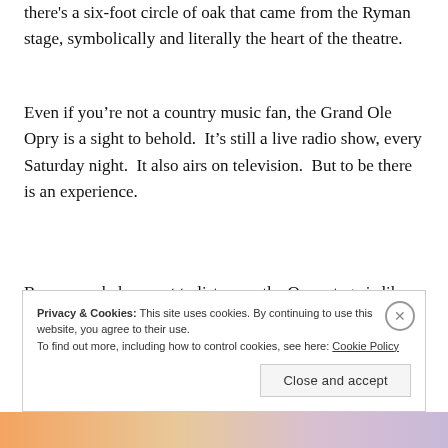there's a six-foot circle of oak that came from the Ryman stage, symbolically and literally the heart of the theatre.
Even if you’re not a country music fan, the Grand Ole Opry is a sight to behold.  It’s still a live radio show, every Saturday night.  It also airs on television.  But to be there is an experience.
Because unbeknownst to listeners, the Opry stage is like a three-ring circus, with something always happening.
Privacy & Cookies: This site uses cookies. By continuing to use this website, you agree to their use.
To find out more, including how to control cookies, see here: Cookie Policy
Close and accept